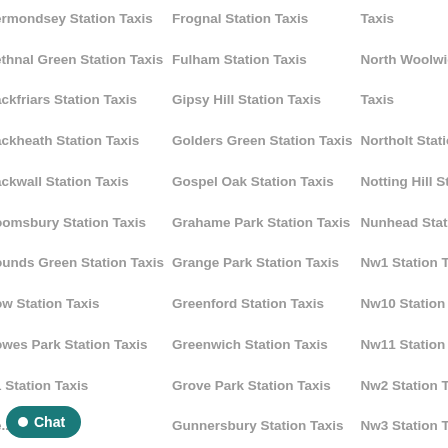ermondsey Station Taxis
Frognal Station Taxis
Taxis
ethnal Green Station Taxis
Fulham Station Taxis
North Woolwich Station
ackfriars Station Taxis
Gipsy Hill Station Taxis
Taxis
ackheath Station Taxis
Golders Green Station Taxis
Northolt Station Taxis
ackwall Station Taxis
Gospel Oak Station Taxis
Notting Hill Station Taxis
oomsbury Station Taxis
Grahame Park Station Taxis
Nunhead Station Taxis
ounds Green Station Taxis
Grange Park Station Taxis
Nw1 Station Taxis
ow Station Taxis
Greenford Station Taxis
Nw10 Station Taxis
owes Park Station Taxis
Greenwich Station Taxis
Nw11 Station Taxis
1 Station Taxis
Grove Park Station Taxis
Nw2 Station Taxis
e...tion Taxis
Gunnersbury Station Taxis
Nw3 Station Taxis